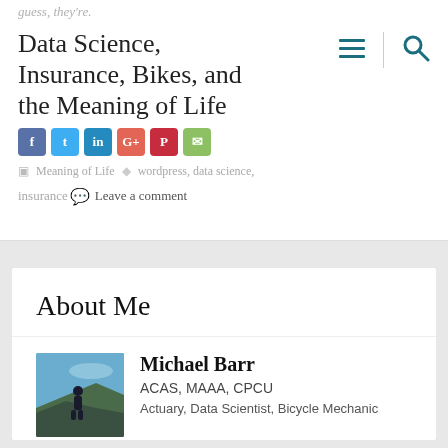guess, they're.
Data Science, Insurance, Bikes, and the Meaning of Life
Meaning of Life  •  wordpress, data science, insurance  •  Leave a comment
About Me
Michael Barr
ACAS, MAAA, CPCU
Actuary, Data Scientist, Bicycle Mechanic